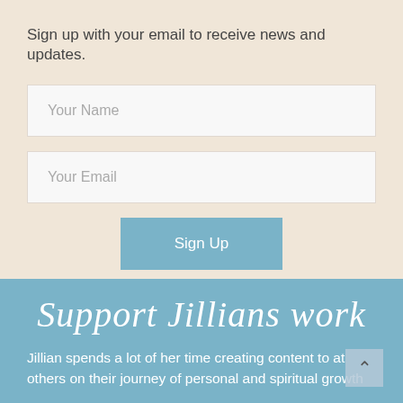Sign up with your email to receive news and updates.
Your Name
Your Email
Sign Up
Support Jillians work
Jillian spends a lot of her time creating content to assist others on their journey of personal and spiritual growth